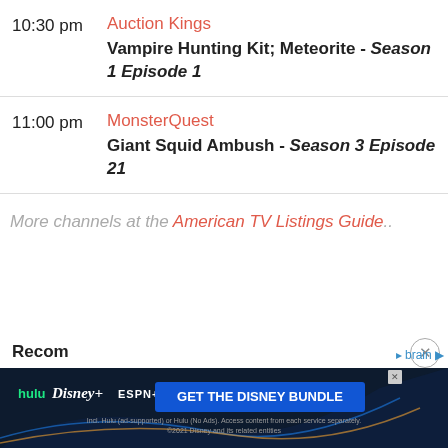10:30 pm  Auction Kings
Vampire Hunting Kit; Meteorite - Season 1 Episode 1
11:00 pm  MonsterQuest
Giant Squid Ambush - Season 3 Episode 21
More channels at the American TV Listings Guide..
[Figure (screenshot): Disney Bundle advertisement banner with Hulu, Disney+, ESPN+ logos and GET THE DISNEY BUNDLE button]
Recom